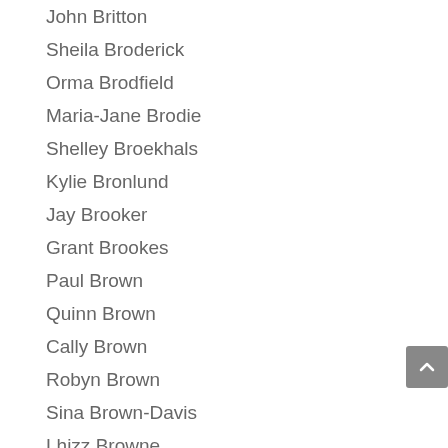John Britton
Sheila Broderick
Orma Brodfield
Maria-Jane Brodie
Shelley Broekhals
Kylie Bronlund
Jay Brooker
Grant Brookes
Paul Brown
Quinn Brown
Cally Brown
Robyn Brown
Sina Brown-Davis
Lhizz Browne
Margaret Browne
Laura Brunton